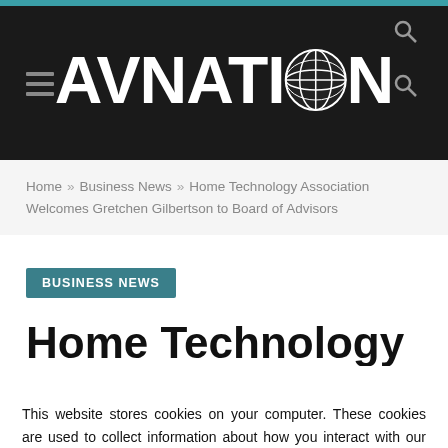AVNation
Home » Business News » Home Technology Association Welcomes Gretchen Gilbertson to Board of Advisors
BUSINESS NEWS
Home Technology
This website stores cookies on your computer. These cookies are used to collect information about how you interact with our website and allow us to remember you. We use this information in order to improve and customize your browsing experience and for analytics and metrics about our visitors both on this website and other media. To find out more about the cookies we use, see our Privacy Policy.
Accept